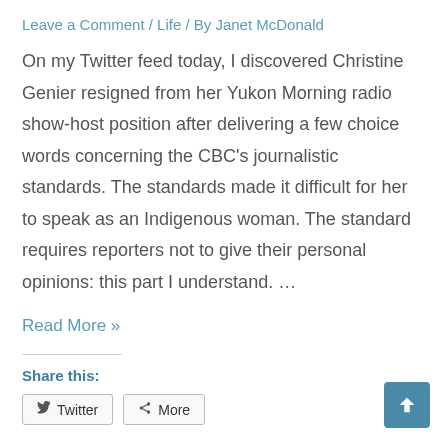Leave a Comment / Life / By Janet McDonald
On my Twitter feed today, I discovered Christine Genier resigned from her Yukon Morning radio show-host position after delivering a few choice words concerning the CBC’s journalistic standards. The standards made it difficult for her to speak as an Indigenous woman. The standard requires reporters not to give their personal opinions: this part I understand. …
Read More »
Share this:
Twitter More